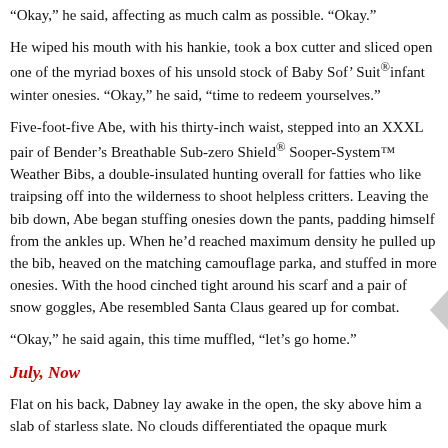“Okay,” he said, affecting as much calm as possible. “Okay.”
He wiped his mouth with his hankie, took a box cutter and sliced open one of the myriad boxes of his unsold stock of Baby Sof’ Suit®infahnt winter onesies. “Okay,” he said, “time to redeem yourselves.”
Five-foot-five Abe, with his thirty-inch waist, stepped into an XXXL pair of Bender’s Breathable Sub-zero Shield® Sooper-System™ Weather Bibs, a double-insulated hunting overall for fatties who like traipsing off into the wilderness to shoot helpless critters. Leaving the bib down, Abe began stuffing onesies down the pants, padding himself from the ankles up. When he’d reached maximum density he pulled up the bib, heaved on the matching camouflage parka, and stuffed in more onesies. With the hood cinched tight around his scarf and a pair of snow goggles, Abe resembled Santa Claus geared up for combat.
“Okay,” he said again, this time muffled, “let’s go home.”
July, Now
Flat on his back, Dabney lay awake in the open, the sky above him a slab of starless slate. No clouds differentiated the opaque murk